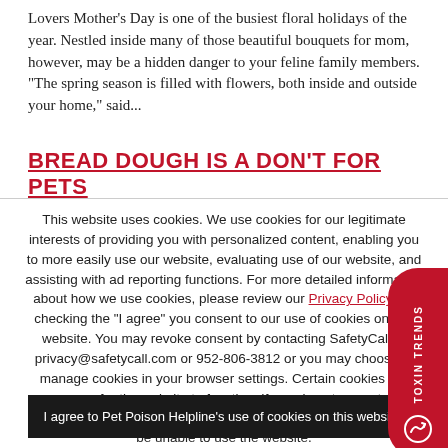Lovers Mother's Day is one of the busiest floral holidays of the year. Nestled inside many of those beautiful bouquets for mom, however, may be a hidden danger to your feline family members. “The spring season is filled with flowers, both inside and outside your home,” said...
BREAD DOUGH IS A DON’T FOR PETS
This website uses cookies. We use cookies for our legitimate interests of providing you with personalized content, enabling you to more easily use our website, evaluating use of our website, and assisting with ad reporting functions. For more detailed information about how we use cookies, please review our Privacy Policy. By checking the “I agree” you consent to our use of cookies on this website. You may revoke consent by contacting SafetyCall at privacy@safetycall.com or 952-806-3812 or you may choose to manage cookies in your browser settings. Certain cookies are necessary for the website to function. If you do not agree to this consent or disable certain cookies in your browser settings, you’ll be unable to use the website.
I agree to Pet Poison Helpline's use of cookies on this website.